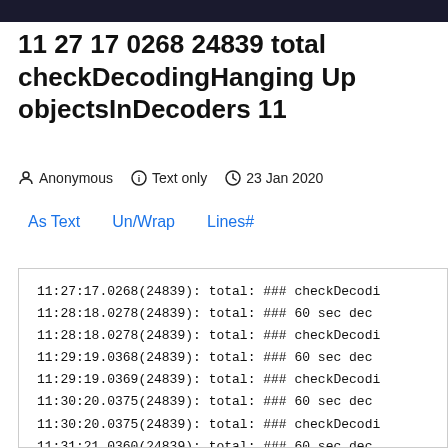11 27 17 0268 24839 total checkDecodingHanging Up objectsInDecoders 11
Anonymous   Text only   23 Jan 2020
As Text   Un/Wrap   Lines#
11:27:17.0268(24839): total: ### checkDecodi
11:28:18.0278(24839): total: ### 60 sec dec
11:28:18.0278(24839): total: ### checkDecodi
11:29:19.0368(24839): total: ### 60 sec dec
11:29:19.0369(24839): total: ### checkDecodi
11:30:20.0375(24839): total: ### 60 sec dec
11:30:20.0375(24839): total: ### checkDecodi
11:31:21.0360(24839): total: ### 60 sec dec
11:31:21.0360(24839): total: ### checkDecodi